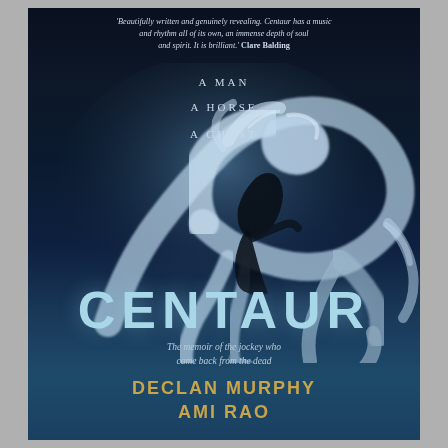'Beautifully written and genuinely revealing. Centaur has a music and rhythm all of its own, an immense depth of soul and spirit. It is brilliant.' Clare Balding
[Figure (illustration): Book cover of Centaur showing a ghostly white horse rearing up with a dark silhouette of a jockey/rider, on a dark navy/black background]
A MAN
A HORSE
A GHOST
CENTAUR
The memoir of the jockey who came back from the dead
DECLAN MURPHY
AMI RAO